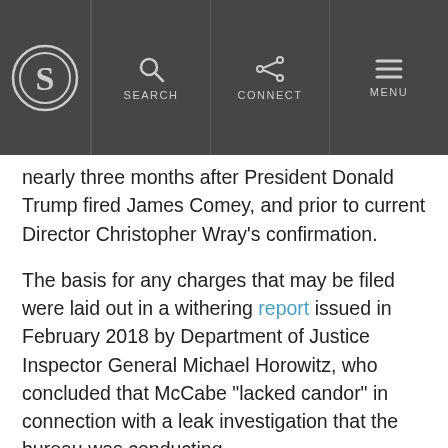Snopes logo | SEARCH | CONNECT | MENU
nearly three months after President Donald Trump fired James Comey, and prior to current Director Christopher Wray's confirmation.
The basis for any charges that may be filed were laid out in a withering report issued in February 2018 by Department of Justice Inspector General Michael Horowitz, who concluded that McCabe “lacked candor” in connection with a leak investigation that the bureau was conducting.
Lack of candor, defined as “[k]nowingly providing false information when making a verbal or written statement,” constitutes a violation of two provisions that are applicable to the FBI’s internal disciplinary